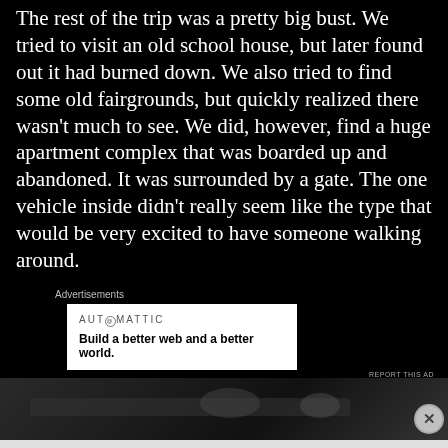The rest of the trip was a pretty big bust. We tried to visit an old school house, but later found out it had burned down. We also tried to find some old fairgrounds, but quickly realized there wasn't much to see. We did, however, find a huge apartment complex that was boarded up and abandoned. It was surrounded by a gate. The one vehicle inside didn't really seem like the type that would be very excited to have someone walking around.
Advertisements
[Figure (other): Automattic advertisement: 'Build a better web and a better world.']
[Figure (photo): Dark grayscale photograph, partially visible, appears to show an outdoor scene.]
Advertisements
[Figure (other): DuckDuckGo advertisement: 'Search, browse, and email with more privacy. All in One Free App']